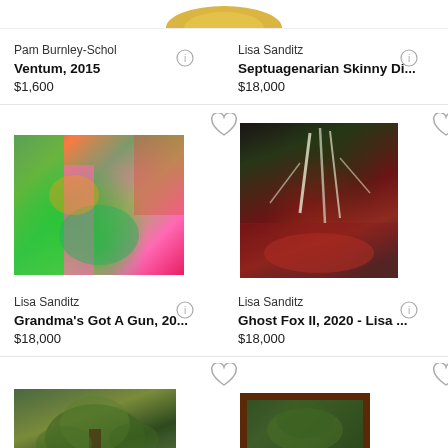[Figure (photo): Partial view of artwork at top of page - cropped gold/yellow artwork]
Pam Burnley-Schol
Ventum, 2015
$1,600
Lisa Sanditz
Septuagenarian Skinny Di...
$18,000
[Figure (photo): Colorful abstract painting with green, pink, and orange tones showing interior scene]
[Figure (photo): Dark painting with white tree branches against red and dark background]
Lisa Sanditz
Grandma's Got A Gun, 20...
$18,000
Lisa Sanditz
Ghost Fox II, 2020 - Lisa ...
$18,000
[Figure (photo): Partially visible green tree painting at bottom left]
[Figure (photo): Partially visible dark framed artwork at bottom right]